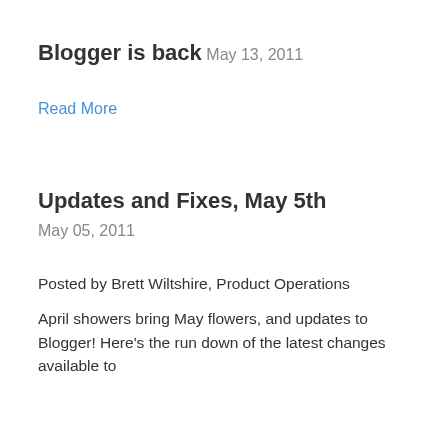Blogger is back
May 13, 2011
Read More
Updates and Fixes, May 5th
May 05, 2011
Posted by Brett Wiltshire, Product Operations
April showers bring May flowers, and updates to Blogger! Here's the run down of the latest changes available to